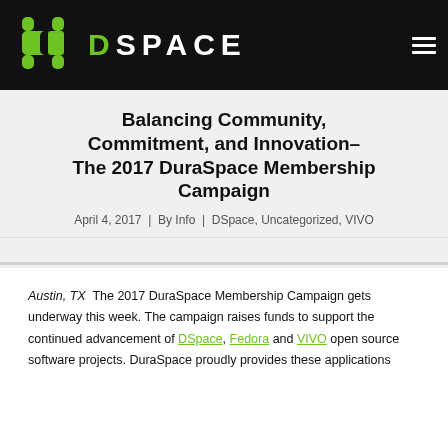DSpace
Balancing Community, Commitment, and Innovation–The 2017 DuraSpace Membership Campaign
April 4, 2017  |  By Info  |  DSpace, Uncategorized, VIVO
Austin, TX  The 2017 DuraSpace Membership Campaign gets underway this week. The campaign raises funds to support the continued advancement of DSpace, Fedora and VIVO open source software projects. DuraSpace proudly provides these applications